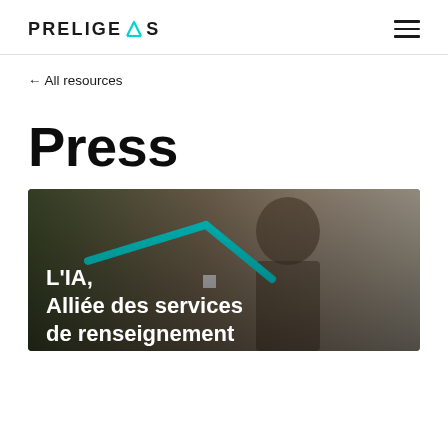PRELIGENS
← All resources
Press
[Figure (photo): A photo of a person with cyan geometric lines overlaid, with text 'L'IA, Alliée des services de renseignement' in white bold font on a dark background.]